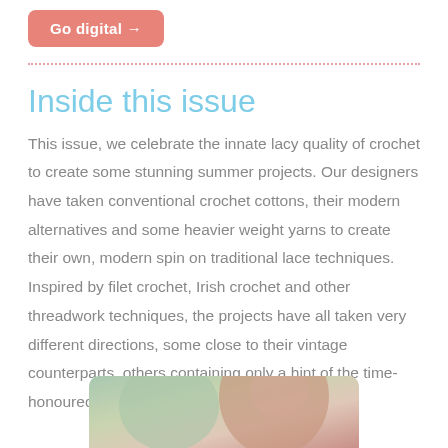[Figure (other): Pink rounded button labeled 'Go digital →']
Inside this issue
This issue, we celebrate the innate lacy quality of crochet to create some stunning summer projects. Our designers have taken conventional crochet cottons, their modern alternatives and some heavier weight yarns to create their own, modern spin on traditional lace techniques. Inspired by filet crochet, Irish crochet and other threadwork techniques, the projects have all taken very different directions, some close to their vintage counterparts, others containing only a hint of the time-honoured practices.
[Figure (photo): Partial photo of a woman with reddish-brown hair outdoors, cropped at bottom of page]